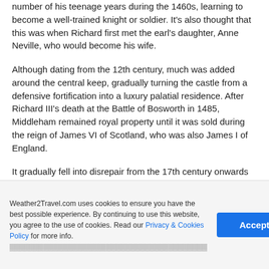number of his teenage years during the 1460s, learning to become a well-trained knight or soldier. It's also thought that this was when Richard first met the earl's daughter, Anne Neville, who would become his wife.
Although dating from the 12th century, much was added around the central keep, gradually turning the castle from a defensive fortification into a luxury palatial residence. After Richard III's death at the Battle of Bosworth in 1485, Middleham remained royal property until it was sold during the reign of James VI of Scotland, who was also James I of England.
It gradually fell into disrepair from the 17th century onwards before being listed as a Grade I building in 1970 and taken under the wing of English Heritage in 1984.
Weather2Travel.com uses cookies to ensure you have the best possible experience. By continuing to use this website, you agree to the use of cookies. Read our Privacy & Cookies Policy for more info.